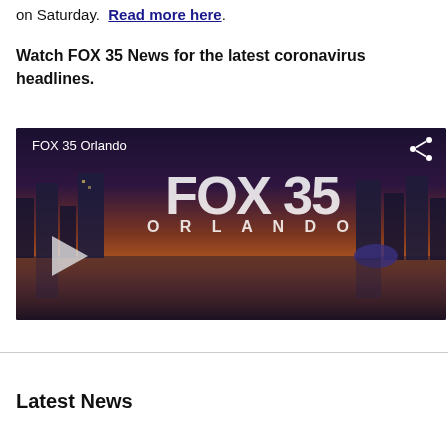on Saturday. Read more here.
Watch FOX 35 News for the latest coronavirus headlines.
[Figure (screenshot): FOX 35 Orlando video thumbnail showing city skyline at sunset with FOX 35 ORLANDO logo in white text, a play button on the left, and a share icon in the top right corner. Label reads 'FOX 35 Orlando'.]
Latest News